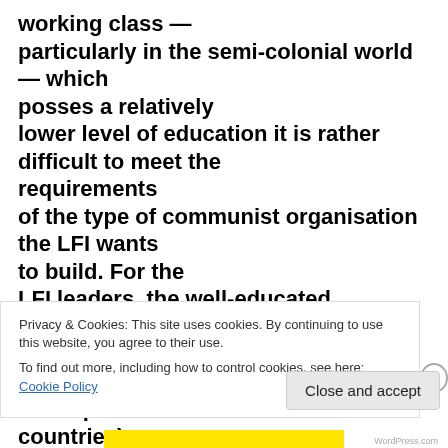working class — particularly in the semi-colonial world — which posses a relatively lower level of education it is rather difficult to meet the requirements of the type of communist organisation the LFI wants to build. For the LFI leaders, the well-educated intellectuals and labour aristocrats (of whom disproportionally many live in the imperialist countries) are more
Privacy & Cookies: This site uses cookies. By continuing to use this website, you agree to their use.
To find out more, including how to control cookies, see here: Cookie Policy
Close and accept